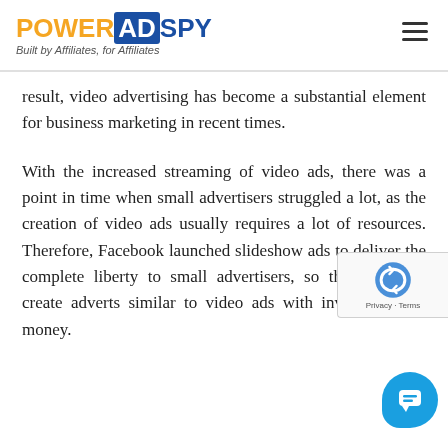POWER AD SPY — Built by Affiliates, for Affiliates
result, video advertising has become a substantial element for business marketing in recent times.
With the increased streaming of video ads, there was a point in time when small advertisers struggled a lot, as the creation of video ads usually requires a lot of resources. Therefore, Facebook launched slideshow ads to deliver the complete liberty to small advertisers, so that they can create adverts similar to video ads without investing extra money.